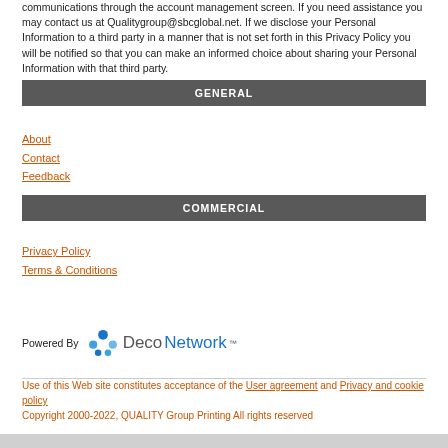communications through the account management screen. If you need assistance you may contact us at Qualitygroup@sbcglobal.net. If we disclose your Personal Information to a third party in a manner that is not set forth in this Privacy Policy you will be notified so that you can make an informed choice about sharing your Personal Information with that third party.
GENERAL
About
Contact
Feedback
COMMERCIAL
Privacy Policy
Terms & Conditions
[Figure (logo): DecoNetwork logo with colorful dot icon and two-tone text]
Use of this Web site constitutes acceptance of the User agreement and Privacy and cookie policy
Copyright 2000-2022, QUALITY Group Printing All rights reserved